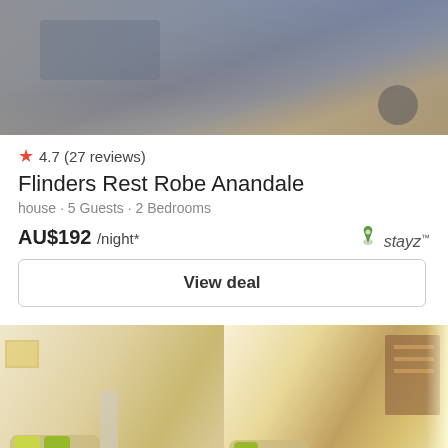[Figure (photo): Blurry interior photo of a living room/couch area with blue-grey tones]
★ 4.7 (27 reviews)
Flinders Rest Robe Anandale
house · 5 Guests · 2 Bedrooms
AU$192 /night*
[Figure (logo): Stayz logo — green leaf icon with 'stayz' text]
View deal
[Figure (photo): Interior photo of a bright living room with tan sofa, yellow-green cushions, and dining area visible in background]